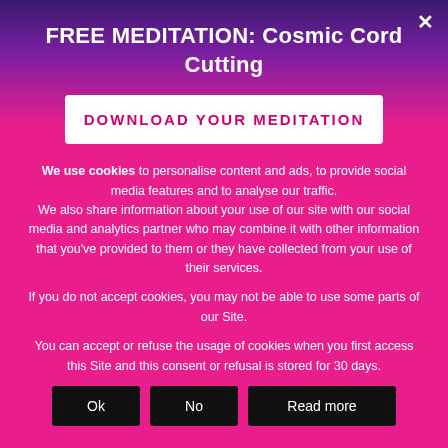FREE MEDITATION: Cosmic Cord Cutting
DOWNLOAD YOUR MEDITATION
We use cookies to personalise content and ads, to provide social media features and to analyse our traffic. We also share information about your use of our site with our social media and analytics partner who may combine it with other information that you've provided to them or they have collected from your use of their services.
If you do not accept cookies, you may not be able to use some parts of our Site.
You can accept or refuse the usage of cookies when you first access this Site and this consent or refusal is stored for 30 days.
Ok | No | Read more